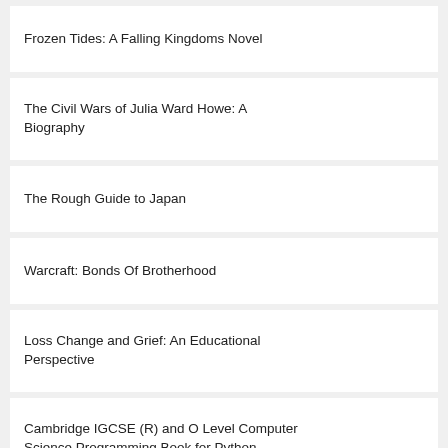Frozen Tides: A Falling Kingdoms Novel
The Civil Wars of Julia Ward Howe: A Biography
The Rough Guide to Japan
Warcraft: Bonds Of Brotherhood
Loss Change and Grief: An Educational Perspective
Cambridge IGCSE (R) and O Level Computer Science Programming Book for Python